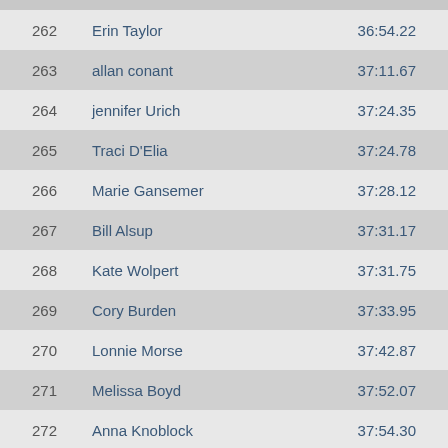| Place | Name | Time |
| --- | --- | --- |
| 262 | Erin Taylor | 36:54.22 |
| 263 | allan conant | 37:11.67 |
| 264 | jennifer Urich | 37:24.35 |
| 265 | Traci D'Elia | 37:24.78 |
| 266 | Marie Gansemer | 37:28.12 |
| 267 | Bill Alsup | 37:31.17 |
| 268 | Kate Wolpert | 37:31.75 |
| 269 | Cory Burden | 37:33.95 |
| 270 | Lonnie Morse | 37:42.87 |
| 271 | Melissa Boyd | 37:52.07 |
| 272 | Anna Knoblock | 37:54.30 |